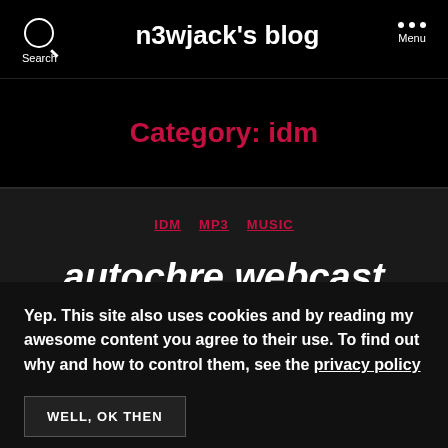Search | n3wjack's blog | Menu
Category: idm
IDM  MP3  MUSIC
autochre webcast
Yep. This site also uses cookies and by reading my awesome content you agree to their use. To find out why and how to control them, see the privacy policy
WELL, OK THEN